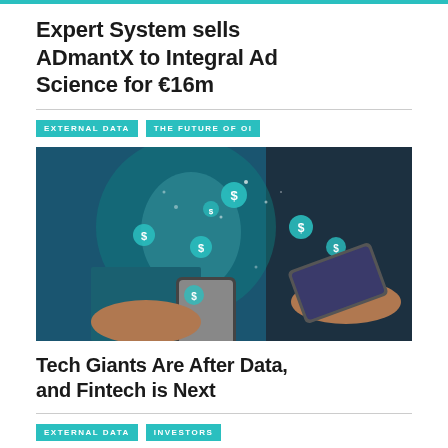Expert System sells ADmantX to Integral Ad Science for €16m
EXTERNAL DATA  THE FUTURE OF OI
[Figure (photo): Person holding a smartphone with floating dollar sign coin icons, and another hand holding a credit card, fintech/payments concept image with teal and dark background]
Tech Giants Are After Data, and Fintech is Next
EXTERNAL DATA  INVESTORS